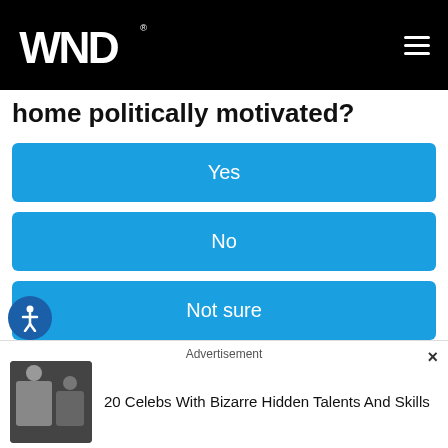WND
home politically motivated?
Yes
No
Not sure
Sponsored Ad
The first two weeks of September saw a mild upswing as Elul 29, the day of reckoning on the Hebrew calendar,
Advertisement
20 Celebs With Bizarre Hidden Talents And Skills